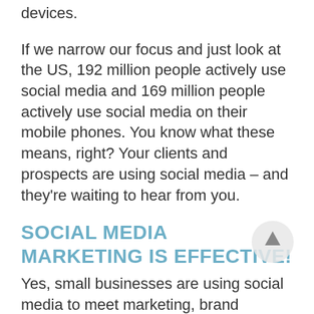devices.
If we narrow our focus and just look at the US, 192 million people actively use social media and 169 million people actively use social media on their mobile phones. You know what these means, right? Your clients and prospects are using social media – and they're waiting to hear from you.
SOCIAL MEDIA MARKETING IS EFFECTIVE!
Yes, small businesses are using social media to meet marketing, brand awareness, and sales goals.
Consider these social media